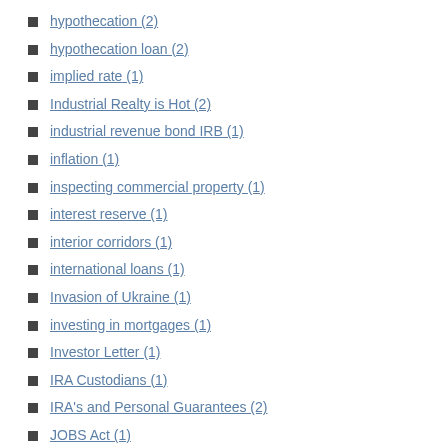hypothecation (2)
hypothecation loan (2)
implied rate (1)
Industrial Realty is Hot (2)
industrial revenue bond IRB (1)
inflation (1)
inspecting commercial property (1)
interest reserve (1)
interior corridors (1)
international loans (1)
Invasion of Ukraine (1)
investing in mortgages (1)
Investor Letter (1)
IRA Custodians (1)
IRA's and Personal Guarantees (2)
JOBS Act (1)